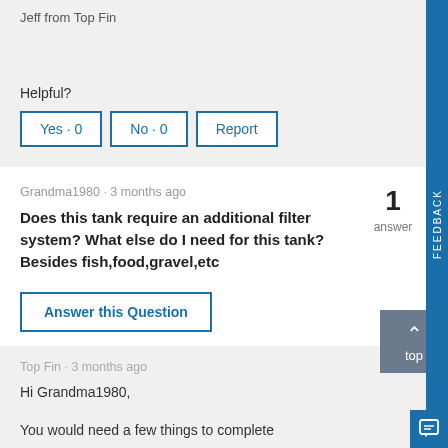Jeff from Top Fin
Helpful?
Yes · 0   No · 0   Report
Grandma1980 · 3 months ago
1 answer
Does this tank require an additional filter system?  What else do I need for this tank? Besides fish,food,gravel,etc
Answer this Question
Top Fin · 3 months ago
Hi Grandma1980,
You would need a few things to complete